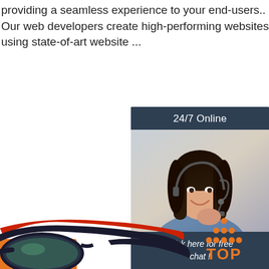providing a seamless experience to your end-users.. Our web developers create high-performing websites using state-of-art website ...
[Figure (other): Orange 'Get Price' button]
[Figure (other): 24/7 Online chat widget with dark blue background, photo of a smiling woman with headset, text 'Click here for free chat!' and orange QUOTATION button]
[Figure (logo): Orange TOP logo with dots arranged in triangle above the word TOP]
[Figure (photo): Partial view of sports sunglasses with red and black frame, bottom left of page]